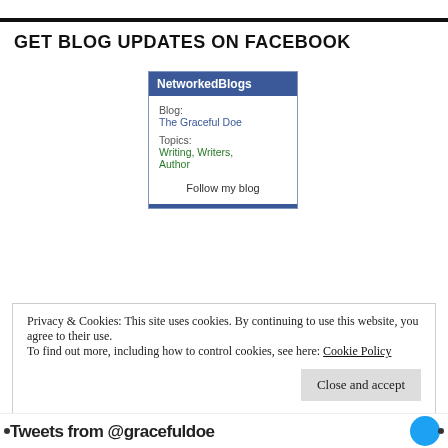GET BLOG UPDATES ON FACEBOOK
[Figure (other): NetworkedBlogs widget showing Blog: The Graceful Doe, Topics: Writing, Writers, Author, with a Follow my blog button]
Privacy & Cookies: This site uses cookies. By continuing to use this website, you agree to their use. To find out more, including how to control cookies, see here: Cookie Policy
Close and accept